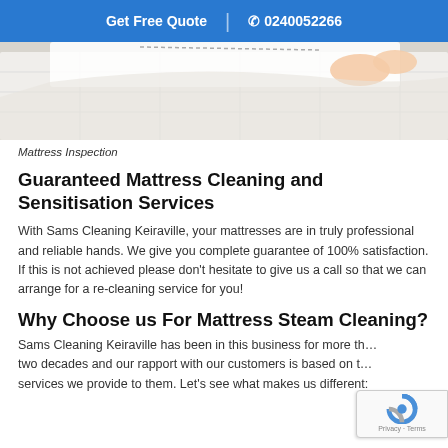Get Free Quote | 0240052266
[Figure (photo): Close-up of a white mattress being inspected or handled, with hands pulling at white fabric/bedding.]
Mattress Inspection
Guaranteed Mattress Cleaning and Sensitisation Services
With Sams Cleaning Keiraville, your mattresses are in truly professional and reliable hands. We give you complete guarantee of 100% satisfaction. If this is not achieved please don't hesitate to give us a call so that we can arrange for a re-cleaning service for you!
Why Choose us For Mattress Steam Cleaning?
Sams Cleaning Keiraville has been in this business for more than two decades and our rapport with our customers is based on the services we provide to them. Let's see what makes us different: